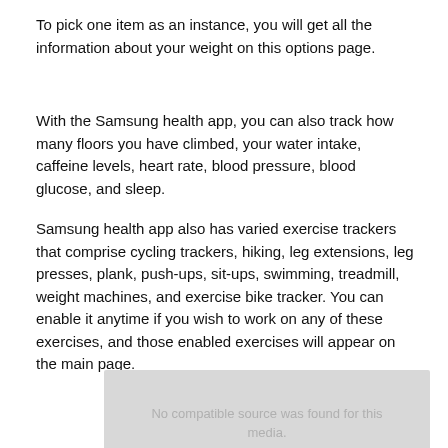To pick one item as an instance, you will get all the information about your weight on this options page.
With the Samsung health app, you can also track how many floors you have climbed, your water intake, caffeine levels, heart rate, blood pressure, blood glucose, and sleep.
Samsung health app also has varied exercise trackers that comprise cycling trackers, hiking, leg extensions, leg presses, plank, push-ups, sit-ups, swimming, treadmill, weight machines, and exercise bike tracker. You can enable it anytime if you wish to work on any of these exercises, and those enabled exercises will appear on the main page.
[Figure (other): Video placeholder with text 'No compatible source was found for this media.' and a play/error icon]